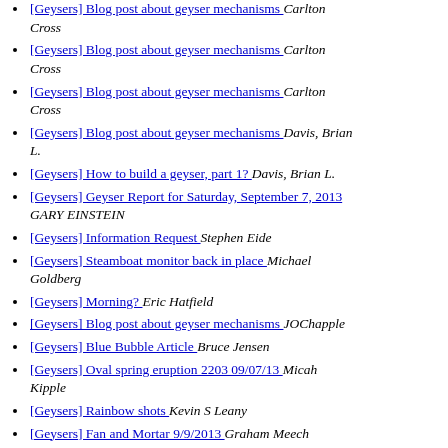[Geysers] Blog post about geyser mechanisms  Carlton Cross
[Geysers] Blog post about geyser mechanisms  Carlton Cross
[Geysers] Blog post about geyser mechanisms  Carlton Cross
[Geysers] Blog post about geyser mechanisms  Davis, Brian L.
[Geysers] How to build a geyser, part 1?  Davis, Brian L.
[Geysers] Geyser Report for Saturday, September 7, 2013  GARY EINSTEIN
[Geysers] Information Request  Stephen Eide
[Geysers] Steamboat monitor back in place  Michael Goldberg
[Geysers] Morning?  Eric Hatfield
[Geysers] Blog post about geyser mechanisms  JOChapple
[Geysers] Blue Bubble Article  Bruce Jensen
[Geysers] Oval spring eruption 2203 09/07/13  Micah Kipple
[Geysers] Rainbow shots  Kevin S Leany
[Geysers] Fan and Mortar 9/9/2013  Graham Meech
[Geysers] August Sput  David Monteith
[Geysers] Help -- Contact Information Needed  David Monteith
[Geysers] Small Earthquakes felt at OF  David Monteith
[Geysers] Two nighttime webcam captures  David Monteith
[Geysers] (truncated)